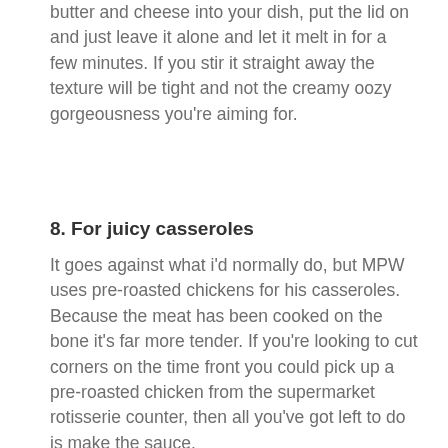butter and cheese into your dish, put the lid on and just leave it alone and let it melt in for a few minutes. If you stir it straight away the texture will be tight and not the creamy oozy gorgeousness you're aiming for.
8. For juicy casseroles
It goes against what i'd normally do, but MPW uses pre-roasted chickens for his casseroles. Because the meat has been cooked on the bone it's far more tender. If you're looking to cut corners on the time front you could pick up a pre-roasted chicken from the supermarket rotisserie counter, then all you've got left to do is make the sauce.
9. Saucy
MPW made a blonde roux – basically a white sauce but with stock instead of milk. For extra flavour he popped the chicken carcasses in for 5 minutes. For velvetyness he added a good glug of double cream and on the veg front he added some chopped leeks that